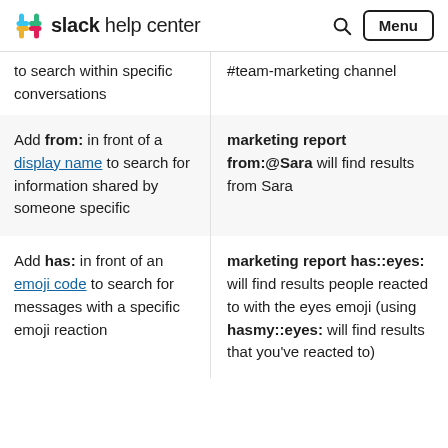slack help center | Search | Menu
| to search within specific conversations | #team-marketing channel |
| Add from: in front of a display name to search for information shared by someone specific | marketing report from:@Sara will find results from Sara |
| Add has: in front of an emoji code to search for messages with a specific emoji reaction | marketing report has::eyes: will find results people reacted to with the eyes emoji (using hasmy::eyes: will find results that you've reacted to) |